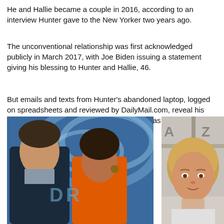He and Hallie became a couple in 2016, according to an interview Hunter gave to the New Yorker two years ago.
The unconventional relationship was first acknowledged publicly in March 2017, with Joe Biden issuing a statement giving his blessing to Hunter and Hallie, 46.
But emails and texts from Hunter's abandoned laptop, logged on spreadsheets and reviewed by DailyMail.com, reveal his romantic relationship with his sister-in-law was even more complicated and scandalous.
[Figure (photo): A man in a dark suit jacket and a woman in an orange dress standing together at an event with a blue swirling background.]
[Figure (photo): A blonde woman with short hair looking at the camera, partially cropped, with a light gray background.]